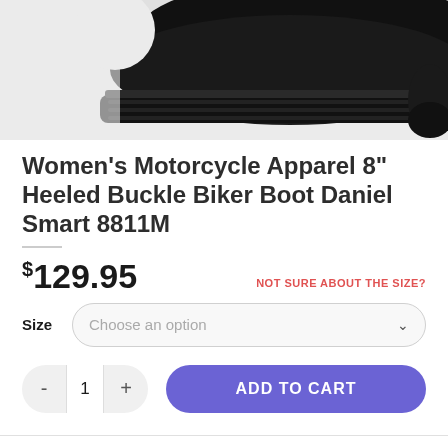[Figure (photo): Close-up photo of a black leather motorcycle boot sole/heel area against a white background]
Women's Motorcycle Apparel 8" Heeled Buckle Biker Boot Daniel Smart 8811M
$129.95
NOT SURE ABOUT THE SIZE?
Size  Choose an option
ADD TO CART
SKU: 8811M